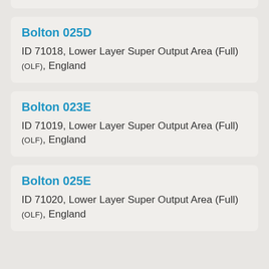Bolton 025D
ID 71018, Lower Layer Super Output Area (Full) (OLF), England
Bolton 023E
ID 71019, Lower Layer Super Output Area (Full) (OLF), England
Bolton 025E
ID 71020, Lower Layer Super Output Area (Full) (OLF), England